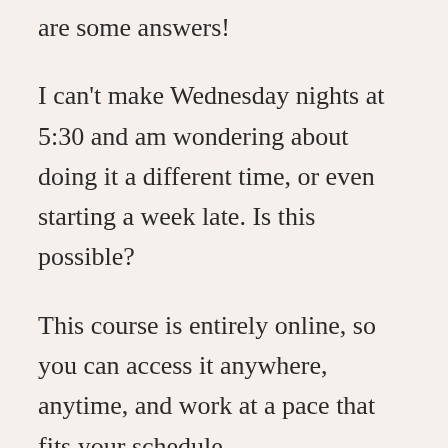are some answers!
I can't make Wednesday nights at 5:30 and am wondering about doing it a different time, or even starting a week late. Is this possible?
This course is entirely online, so you can access it anywhere, anytime, and work at a pace that fits your schedule.
I will present the week's material LIVE every Wednesday night at 5:30PM, and of course there is something energizing about all being together at the same time doing the same thing,